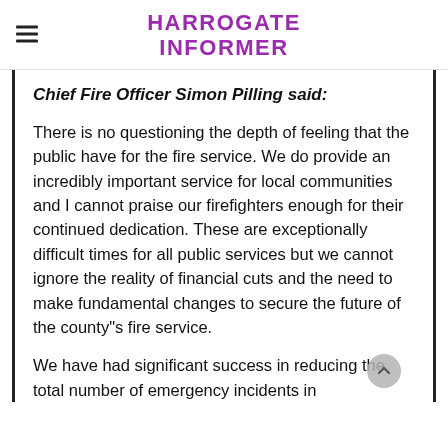HARROGATE INFORMER
Chief Fire Officer Simon Pilling said:
There is no questioning the depth of feeling that the public have for the fire service. We do provide an incredibly important service for local communities and I cannot praise our firefighters enough for their continued dedication. These are exceptionally difficult times for all public services but we cannot ignore the reality of financial cuts and the need to make fundamental changes to secure the future of the county"s fire service.
We have had significant success in reducing the total number of emergency incidents in